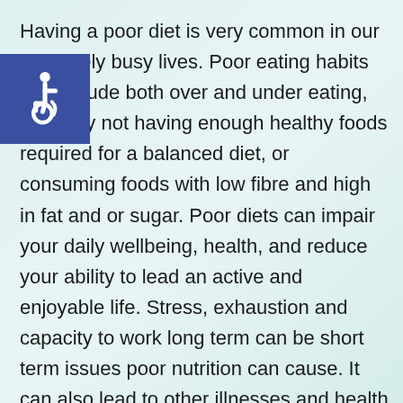Having a poor diet is very common in our extremely busy lives. Poor eating habits can include both over and under eating, basically not having enough healthy foods required for a balanced diet, or consuming foods with low fibre and high in fat and or sugar. Poor diets can impair your daily wellbeing, health, and reduce your ability to lead an active and enjoyable life. Stress, exhaustion and capacity to work long term can be short term issues poor nutrition can cause. It can also lead to other illnesses and health problems like: